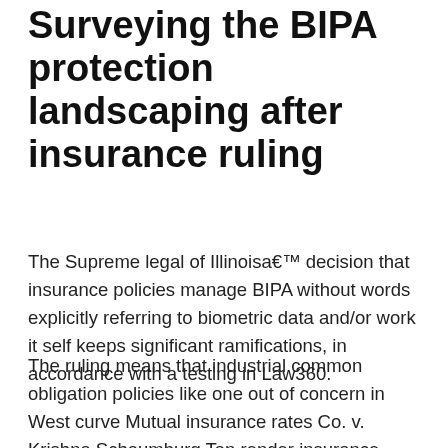Surveying the BIPA protection landscaping after insurance ruling
The Supreme legal of Illinoisa€™ decision that insurance policies manage BIPA without words explicitly referring to biometric data and/or work it self keeps significant ramifications, in accordance with a testing in Law360.
The ruling means that industrial common obligation policies like one out of concern in West curve Mutual insurance rates Co. v. Krishna Schaumburg Tan render insurance companies accountable for businesses ownersa€™ liabilities, Tae Andrews of Miller Friel PLLC produces, while they cover marketing and advertising accidents, such as confidentiality violations. The ruling